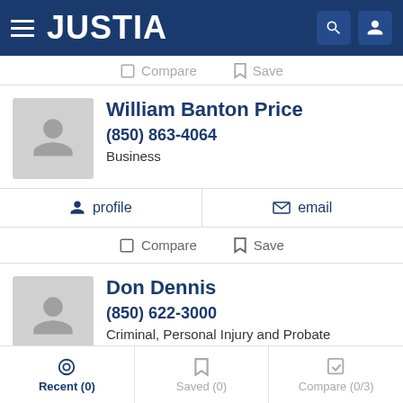JUSTIA
Compare  Save
William Banton Price
(850) 863-4064
Business
profile  email
Compare  Save
Don Dennis
(850) 622-3000
Criminal, Personal Injury and Probate
website  profile
Recent (0)  Saved (0)  Compare (0/3)